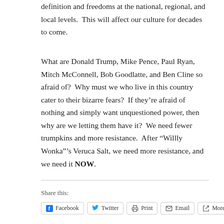definition and freedoms at the national, regional, and local levels.  This will affect our culture for decades to come.
What are Donald Trump, Mike Pence, Paul Ryan, Mitch McConnell, Bob Goodlatte, and Ben Cline so afraid of?  Why must we who live in this country cater to their bizarre fears?  If they’re afraid of nothing and simply want unquestioned power, then why are we letting them have it?  We need fewer trumpkins and more resistance.  After “Willly Wonka”’s Veruca Salt, we need more resistance, and we need it NOW.
Share this:
Facebook  Twitter  Print  Email  More